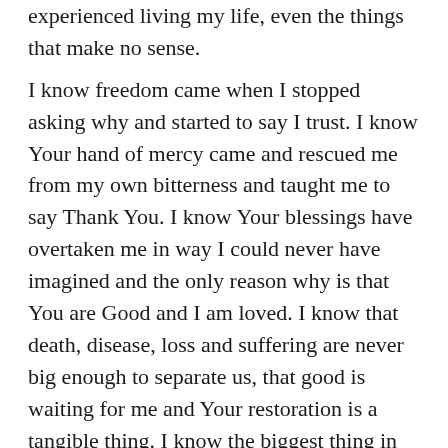experienced living my life, even the things that make no sense.

I know freedom came when I stopped asking why and started to say I trust. I know Your hand of mercy came and rescued me from my own bitterness and taught me to say Thank You. I know Your blessings have overtaken me in way I could never have imagined and the only reason why is that You are Good and I am loved. I know that death, disease, loss and suffering are never big enough to separate us, that good is waiting for me and Your restoration is a tangible thing. I know the biggest thing in my life that makes no sense is that You love me and gave Your Son for me. For Me.

For ME!!!

Now, I just want my life to say THANK YOU, every day. I know I've been given much, even though I once thought I'd lost more. I know that in You, nothing is lost and that the ones who